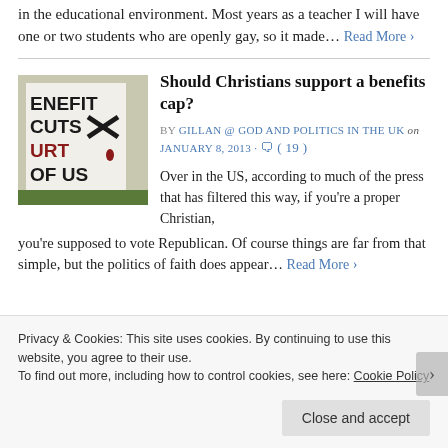in the educational environment. Most years as a teacher I will have one or two students who are openly gay, so it made... Read More ›
Should Christians support a benefits cap?
[Figure (photo): Protest sign reading 'BENEFIT CUTS HURT OF US' with red paint and crossed-out marks]
BY GILLAN @ GOD AND POLITICS IN THE UK on JANUARY 8, 2013 · ( 19 )
Over in the US, according to much of the press that has filtered this way, if you're a proper Christian, you're supposed to vote Republican. Of course things are far from that simple, but the politics of faith does appear... Read More ›
Privacy & Cookies: This site uses cookies. By continuing to use this website, you agree to their use.
To find out more, including how to control cookies, see here: Cookie Policy
Close and accept